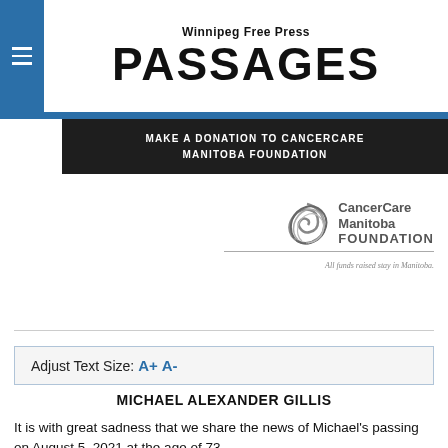Winnipeg Free Press PASSAGES
[Figure (logo): CancerCare Manitoba Foundation logo with swirl graphic and tagline 'All funds raised stay in Manitoba.']
MAKE A DONATION TO CANCERCARE MANITOBA FOUNDATION
Adjust Text Size: A+ A-
MICHAEL ALEXANDER GILLIS
It is with great sadness that we share the news of Michael's passing on August 5, 2021 at the age of 73.